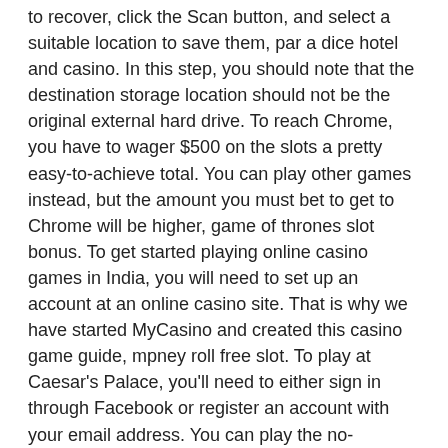to recover, click the Scan button, and select a suitable location to save them, par a dice hotel and casino. In this step, you should note that the destination storage location should not be the original external hard drive. To reach Chrome, you have to wager $500 on the slots a pretty easy-to-achieve total. You can play other games instead, but the amount you must bet to get to Chrome will be higher, game of thrones slot bonus. To get started playing online casino games in India, you will need to set up an account at an online casino site. That is why we have started MyCasino and created this casino game guide, mpney roll free slot. To play at Caesar's Palace, you'll need to either sign in through Facebook or register an account with your email address. You can play the no-download version on your PC or play on the go by downloading an app to your smartphone, one casino 10 euro free. Therefore, a good idea is to stick to the